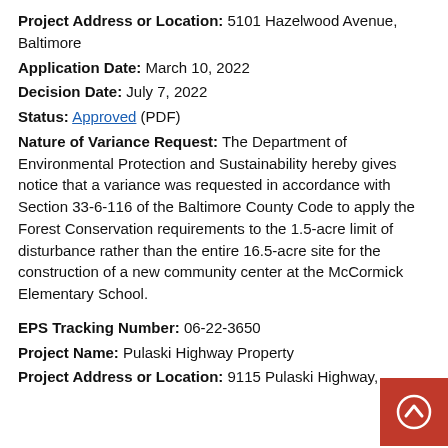Project Address or Location: 5101 Hazelwood Avenue, Baltimore
Application Date: March 10, 2022
Decision Date: July 7, 2022
Status: Approved (PDF)
Nature of Variance Request: The Department of Environmental Protection and Sustainability hereby gives notice that a variance was requested in accordance with Section 33-6-116 of the Baltimore County Code to apply the Forest Conservation requirements to the 1.5-acre limit of disturbance rather than the entire 16.5-acre site for the construction of a new community center at the McCormick Elementary School.
EPS Tracking Number: 06-22-3650
Project Name: Pulaski Highway Property
Project Address or Location: 9115 Pulaski Highway,